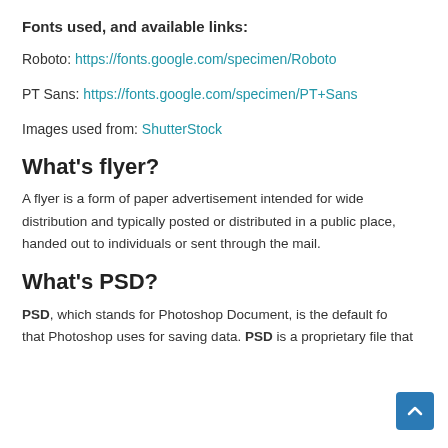Fonts used, and available links:
Roboto: https://fonts.google.com/specimen/Roboto
PT Sans: https://fonts.google.com/specimen/PT+Sans
Images used from: ShutterStock
What's flyer?
A flyer is a form of paper advertisement intended for wide distribution and typically posted or distributed in a public place, handed out to individuals or sent through the mail.
What's PSD?
PSD, which stands for Photoshop Document, is the default format that Photoshop uses for saving data. PSD is a proprietary file that